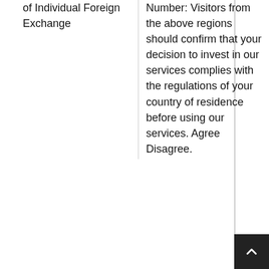| of Individual Foreign Exchange | Number: Visitors from the above regions should confirm that your decision to invest in our services complies with the regulations of your country of residence before using our services. Agree Disagree. |